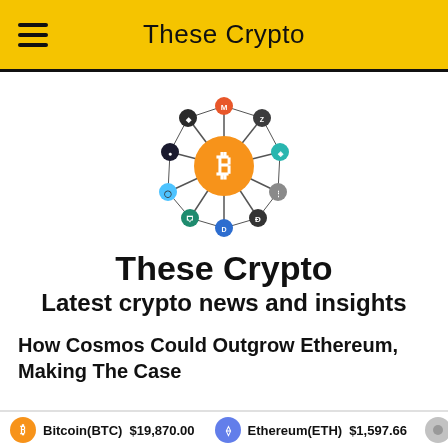These Crypto
[Figure (logo): Cryptocurrency network logo with Bitcoin at center surrounded by various crypto coin icons connected by lines]
These Crypto
Latest crypto news and insights
How Cosmos Could Outgrow Ethereum, Making The Case
Bitcoin(BTC) $19,870.00   Ethereum(ETH) $1,597.66   Car...